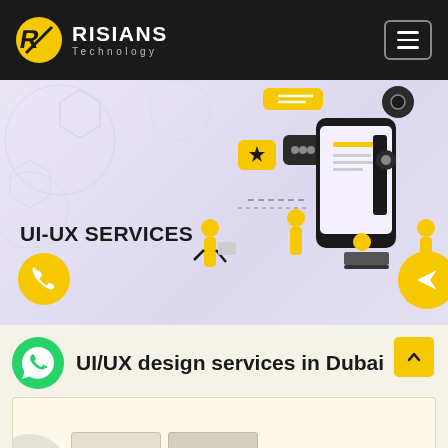RISIANS Technology
[Figure (illustration): UI-UX services hero banner with illustrated characters working with mobile app UI elements, gear icons, chat bubbles, and a large smartphone mockup. Yellow and dark color scheme. Text reads 'UI-UX SERVICES'. Yellow phone button bottom-left and yellow send button bottom-right.]
UI/UX design services in Dubai
[Figure (screenshot): Partial view of a card/content area with beige background, decorative grey circle bottom-left, and small card mockups at the bottom.]